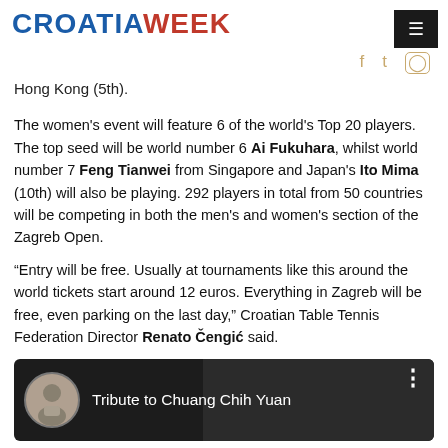CROATIAWEEK
Hong Kong (5th).
The women's event will feature 6 of the world's Top 20 players. The top seed will be world number 6 Ai Fukuhara, whilst world number 7 Feng Tianwei from Singapore and Japan's Ito Mima (10th) will also be playing. 292 players in total from 50 countries will be competing in both the men's and women's section of the Zagreb Open.
“Entry will be free. Usually at tournaments like this around the world tickets start around 12 euros. Everything in Zagreb will be free, even parking on the last day,” Croatian Table Tennis Federation Director Renato Čengić said.
[Figure (screenshot): YouTube video thumbnail showing 'Tribute to Chuang Chih Yuan' with a circular avatar of a person and partially visible background image]